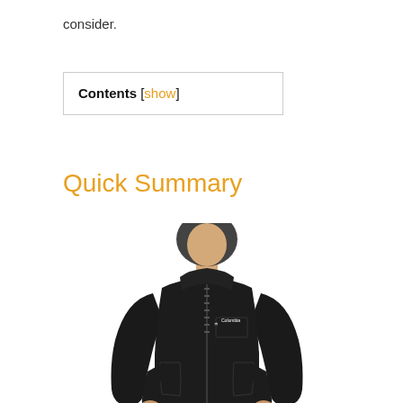consider.
Contents [show]
Quick Summary
[Figure (photo): Man wearing a black Columbia hooded rain/winter jacket with grey pants, shown from approximately waist up, facing forward slightly turned.]